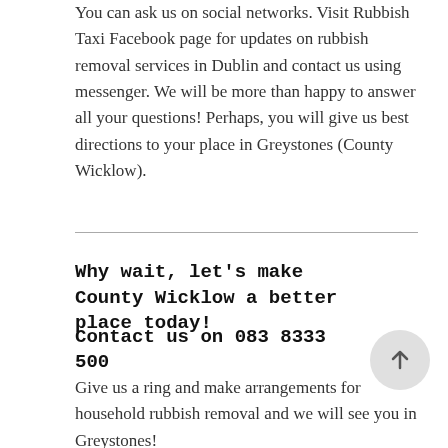You can ask us on social networks. Visit Rubbish Taxi Facebook page for updates on rubbish removal services in Dublin and contact us using messenger. We will be more than happy to answer all your questions! Perhaps, you will give us best directions to your place in Greystones (County Wicklow).
Why wait, let's make County Wicklow a better place today!
Contact us on 083 8333 500
Give us a ring and make arrangements for household rubbish removal and we will see you in Greystones!